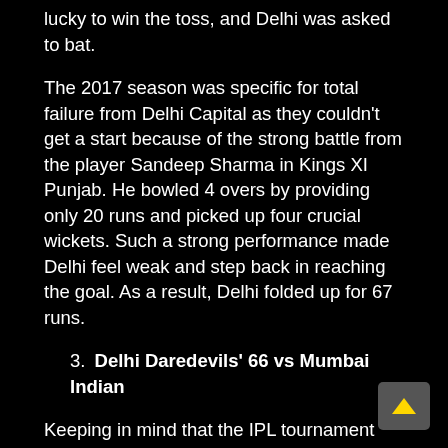lucky to win the toss, and Delhi was asked to bat.
The 2017 season was specific for total failure from Delhi Capital as they couldn't get a start because of the strong battle from the player Sandeep Sharma in Kings XI Punjab. He bowled 4 overs by providing only 20 runs and picked up four crucial wickets. Such a strong performance made Delhi feel weak and step back in reaching the goal. As a result, Delhi folded up for 67 runs.
3. Delhi Daredevils' 66 vs Mumbai Indian
Keeping in mind that the IPL tournament consists of several home and away matches, in the same 2017 season, Dehli Daredevils (with the current name Delhi Capitals) showed another drawback of their team when they couldn't gather themselves and